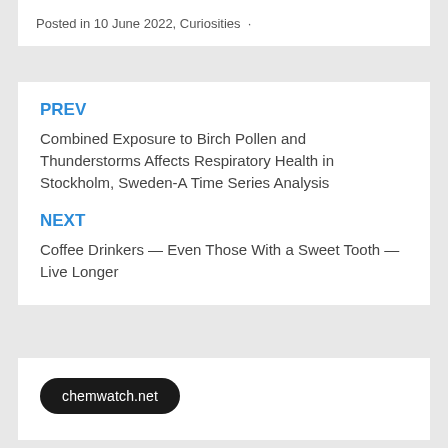Posted in 10 June 2022, Curiosities ·
PREV
Combined Exposure to Birch Pollen and Thunderstorms Affects Respiratory Health in Stockholm, Sweden-A Time Series Analysis
NEXT
Coffee Drinkers — Even Those With a Sweet Tooth — Live Longer
chemwatch.net